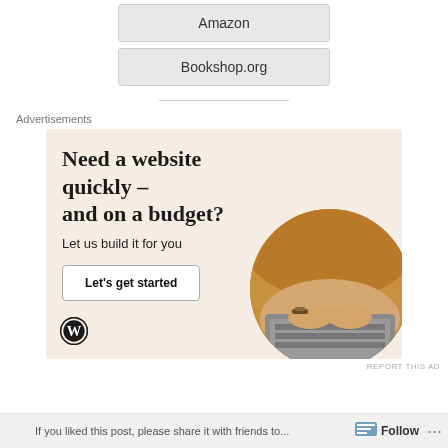Amazon
Bookshop.org
Advertisements
[Figure (illustration): WordPress advertisement banner with beige/cream background. Headline reads 'Need a website quickly – and on a budget?' with subtext 'Let us build it for you', a 'Let's get started' button, WordPress logo at bottom left, and a circular photo of hands typing on a laptop at bottom right.]
REPORT THIS AD
If you liked this post, please share it with friends to...
Follow